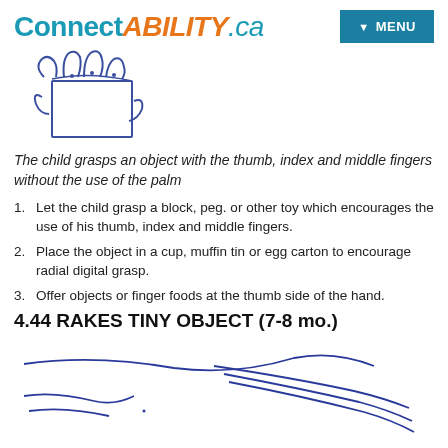ConnectABILITY.ca
[Figure (illustration): Hand-drawn sketch in blue ink showing a hand grasping an object, viewed from above. Depicts fingers gripping a block-like object.]
The child grasps an object with the thumb, index and middle fingers without the use of the palm
Let the child grasp a block, peg. or other toy which encourages the use of his thumb, index and middle fingers.
Place the object in a cup, muffin tin or egg carton to encourage radial digital grasp.
Offer objects or finger foods at the thumb side of the hand.
4.44 RAKES TINY OBJECT (7-8 mo.)
[Figure (illustration): Hand-drawn sketch in blue ink showing a raking motion of a hand, with curved lines suggesting fingers sweeping across a surface.]